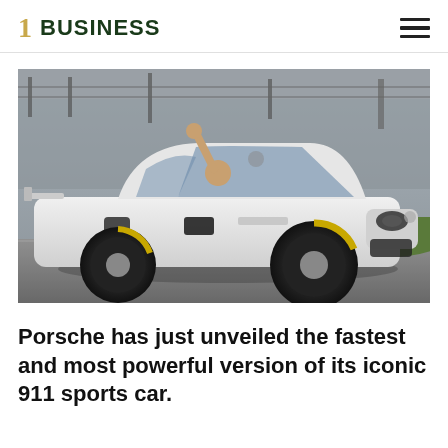1 BUSINESS
[Figure (photo): A white Porsche 911 GT3 RS sports car driving on a race track, with a person waving from the driver's window. The car has black wheels with yellow brake calipers. Background shows a gray barrier wall and green grass.]
Porsche has just unveiled the fastest and most powerful version of its iconic 911 sports car.